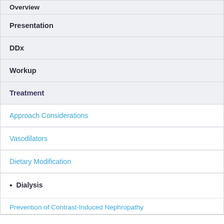Overview
Presentation
DDx
Workup
Treatment
Approach Considerations
Vasodilators
Dietary Modification
Dialysis
Prevention of Contrast-Induced Nephropathy